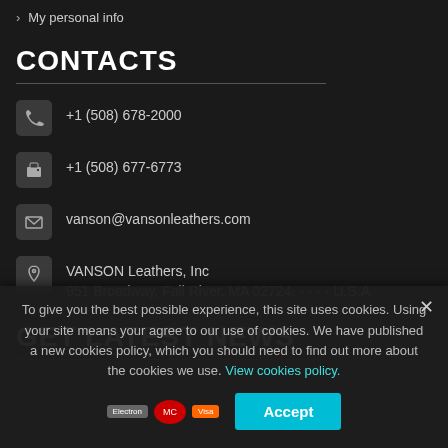› My personal info
CONTACTS
+1 (508) 678-2000
+1 (508) 677-6773
vanson@vansonleathers.com
VANSON Leathers, Inc
951 Broadway, Fall River, MA 02724, - - - - U.S.A.
GET LATEST NEWS
To give you the best possible experience, this site uses cookies. Using your site means your agree to our use of cookies. We have published a new cookies policy, which you should need to find out more about the cookies we use. View cookies policy.